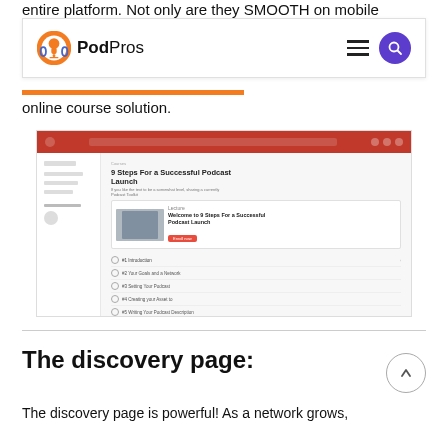entire platform. Not only are they SMOOTH on mobile
[Figure (screenshot): PodPros website navigation bar with logo, hamburger menu, and purple search button]
online course solution.
[Figure (screenshot): Screenshot of a course platform showing '9 Steps For a Successful Podcast Launch' course page with sidebar navigation, course card, and lesson list]
The discovery page:
The discovery page is powerful! As a network grows,